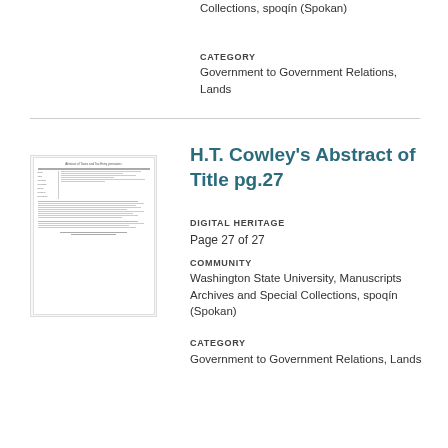Collections, spoqín (Spokan)
CATEGORY
Government to Government Relations, Lands
H.T. Cowley's Abstract of Title pg.27
DIGITAL HERITAGE
Page 27 of 27
COMMUNITY
Washington State University, Manuscripts Archives and Special Collections, spoqín (Spokan)
CATEGORY
Government to Government Relations, Lands